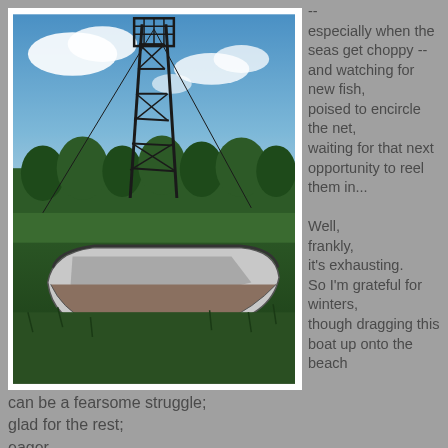[Figure (photo): An abandoned fishing or work boat sitting on grass/land beside a tall metal lattice mast or tower structure, with a forest and cloudy blue sky in the background. The photo has a dramatic HDR-style look.]
--
especially when the seas get choppy --
and watching for new fish,
poised to encircle the net,
waiting for that next opportunity to reel them in...

Well,
frankly,
it's exhausting.
So I'm grateful for winters,
though dragging this boat up onto the beach
can be a fearsome struggle;
glad for the rest;
eager,